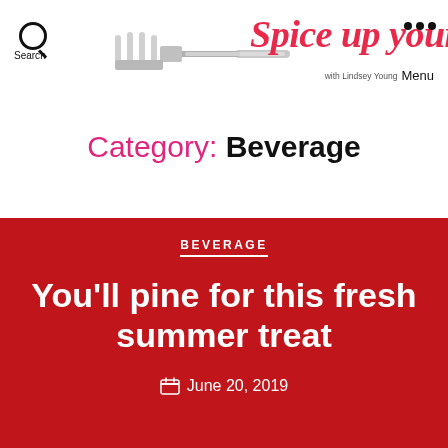[Figure (logo): Spice up your life blog header with fork image, search icon, menu dots, and subtitle 'with Lindsey Young']
Category: Beverage
BEVERAGE
You'll pine for this fresh summer treat
June 20, 2019